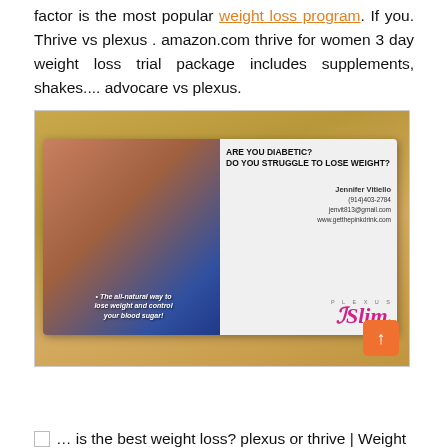factor is the most popular weight loss program. If you. Thrive vs plexus . amazon.com thrive for women 3 day weight loss trial package includes supplements, shakes.... advocare vs plexus.
[Figure (photo): A photo of a Plexus Slim business card on a wooden surface. The card shows a woman's midsection in jeans on the left side, with text 'ARE YOU DIABETIC? DO YOU STRUGGLE TO LOSE WEIGHT?' and contact details for Jennifer Vitiello, (914)403-2784, jenvit813@gmail.com, www.getthepinkdrink.com, and the Plexus Slim logo. Bottom left of card reads 'The all-natural way to lose weight and control your blood sugar!']
... is the best weight loss? plexus or thrive | Weight